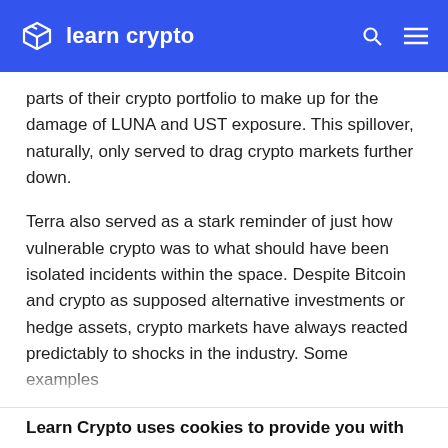learn crypto
parts of their crypto portfolio to make up for the damage of LUNA and UST exposure. This spillover, naturally, only served to drag crypto markets further down.
Terra also served as a stark reminder of just how vulnerable crypto was to what should have been isolated incidents within the space. Despite Bitcoin and crypto as supposed alternative investments or hedge assets, crypto markets have always reacted predictably to shocks in the industry. Some examples
Learn Crypto uses cookies to provide you with